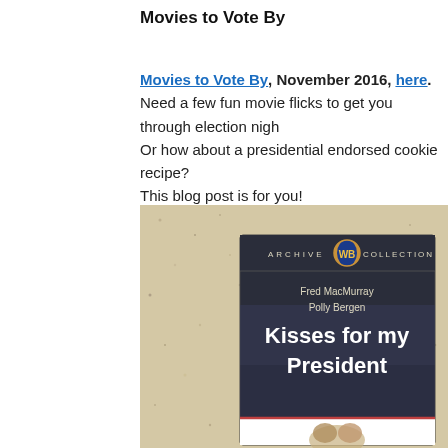Movies to Vote By
Movies to Vote By, November 2016, here.
Need a few fun movie flicks to get you through election night?
Or how about a presidential endorsed cookie recipe?
This blog post is for you!
[Figure (photo): Photo of a Warner Bros Archive Collection DVD case for 'Kisses for my President' starring Fred MacMurray and Polly Bergen, placed on a speckled granite countertop.]